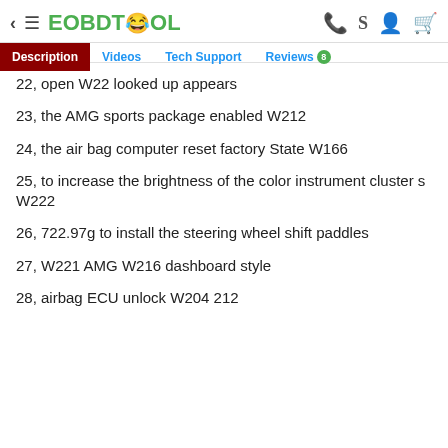EOBDTOOL Description Videos Tech Support Reviews 8
22, open W22 looked up appears
23, the AMG sports package enabled W212
24, the air bag computer reset factory State W166
25, to increase the brightness of the color instrument cluster s W222
26, 722.97g to install the steering wheel shift paddles
27, W221 AMG W216 dashboard style
28, airbag ECU unlock W204 212